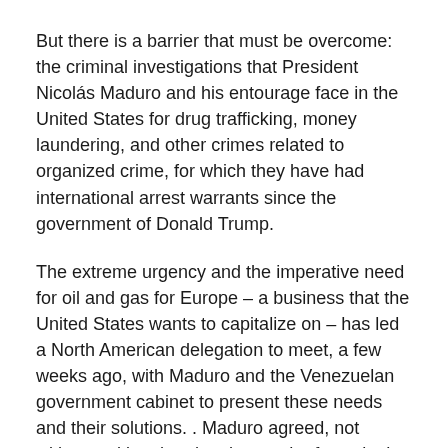But there is a barrier that must be overcome: the criminal investigations that President Nicolás Maduro and his entourage face in the United States for drug trafficking, money laundering, and other crimes related to organized crime, for which they have had international arrest warrants since the government of Donald Trump.
The extreme urgency and the imperative need for oil and gas for Europe – a business that the United States wants to capitalize on – has led a North American delegation to meet, a few weeks ago, with Maduro and the Venezuelan government cabinet to present these needs and their solutions. . Maduro agreed, not without asking that the charges he faces in the United States be dropped.
This geostrategic game has many edges: Venezuela is a